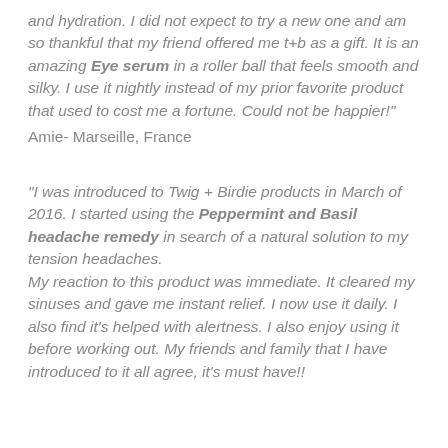and hydration. I did not expect to try a new one and am so thankful that my friend offered me t+b as a gift. It is an amazing Eye serum in a roller ball that feels smooth and silky. I use it nightly instead of my prior favorite product that used to cost me a fortune. Could not be happier!"
Amie- Marseille, France
"I was introduced to Twig + Birdie products in March of 2016. I started using the Peppermint and Basil headache remedy in search of a natural solution to my tension headaches.
My reaction to this product was immediate. It cleared my sinuses and gave me instant relief. I now use it daily. I also find it's helped with alertness. I also enjoy using it before working out. My friends and family that I have introduced to it all agree, it's must have!!